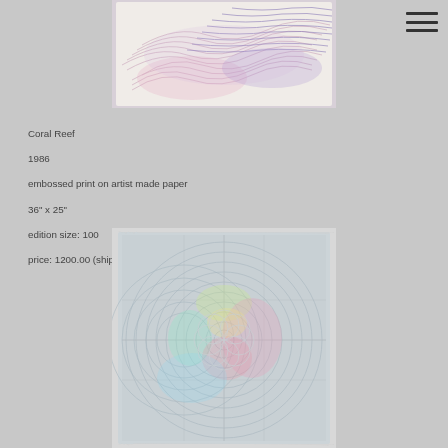[Figure (photo): Top artwork: embossed print with flowing wavy lines in pink, lavender, and purple tones on white paper — 'Coral Reef' 1986]
Coral Reef
1986
embossed print on artist made paper
36" x 25"

edition size: 100
price: 1200.00 (shipping & tax included))
[Figure (photo): Bottom artwork: embossed print with concentric circular and geometric patterns in light blue/grey with pastel color accents (pink, green, yellow) on textured handmade paper]